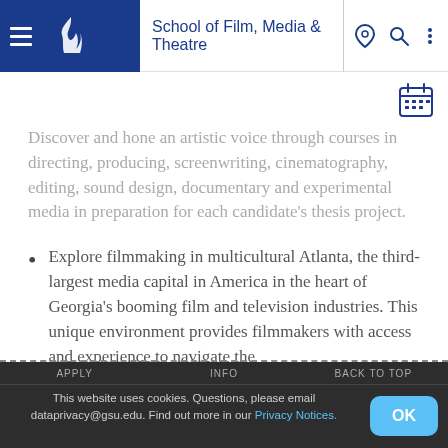School of Film, Media & Theatre
Discover and hone an artistic voice through courses in directing, producing, screenwriting, cinematography, editing, sound design, documentary and experimental media in preparation for each candidate’s thesis project.
Explore filmmaking in multicultural Atlanta, the third-largest media capital in America in the heart of Georgia’s booming film and television industries. This unique environment provides filmmakers with access and experience to navigate the
This website uses cookies. Questions, please email dataprivacy@gsu.edu. Find out more in our Privacy Notices.